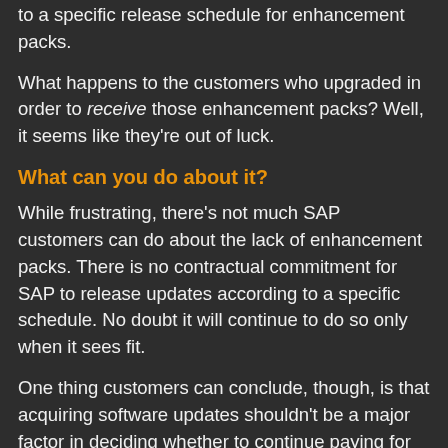to a specific release schedule for enhancement packs.
What happens to the customers who upgraded in order to receive those enhancement packs? Well, it seems like they're out of luck.
What can you do about it?
While frustrating, there's not much SAP customers can do about the lack of enhancement packs. There is no contractual commitment for SAP to release updates according to a specific schedule. No doubt it will continue to do so only when it sees fit.
One thing customers can conclude, though, is that acquiring software updates shouldn't be a major factor in deciding whether to continue paying for SAP's official support.